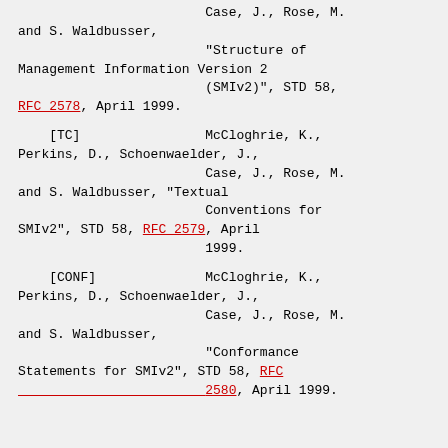Case, J., Rose, M. and S. Waldbusser, "Structure of Management Information Version 2 (SMIv2)", STD 58, RFC 2578, April 1999.
[TC]   McCloghrie, K., Perkins, D., Schoenwaelder, J., Case, J., Rose, M. and S. Waldbusser, "Textual Conventions for SMIv2", STD 58, RFC 2579, April 1999.
[CONF]   McCloghrie, K., Perkins, D., Schoenwaelder, J., Case, J., Rose, M. and S. Waldbusser, "Conformance Statements for SMIv2", STD 58, RFC 2580, April 1999.